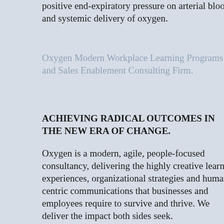positive end-expiratory pressure on arterial blood gases and systemic delivery of oxygen.
Oxygen Modern Workplace Learning Programs and Sales Enablement Consulting Firm.
ACHIEVING RADICAL OUTCOMES IN THE NEW ERA OF CHANGE.
Oxygen is a modern, agile, people-focused consultancy, delivering the highly creative learning experiences, organizational strategies and human-centric communications that businesses and employees require to survive and thrive. We deliver the impact both sides seek.